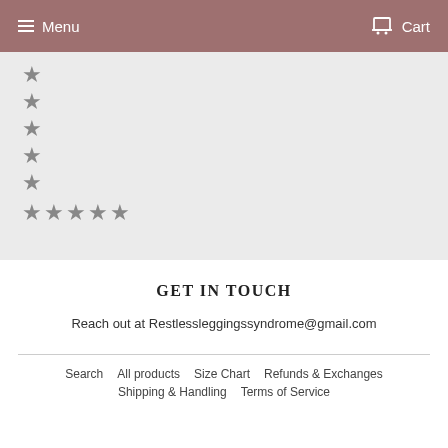Menu  Cart
[Figure (other): Five individual star icons arranged vertically, followed by a row of five stars horizontally, all in grey, on a light grey background]
GET IN TOUCH
Reach out at Restlessleggingssyndrome@gmail.com
Search  All products  Size Chart  Refunds & Exchanges  Shipping & Handling  Terms of Service